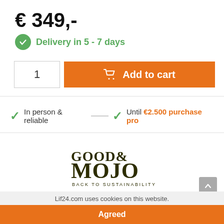€ 349,-
Delivery in 5 - 7 days
1
Add to cart
In person & reliable
Until €2.500 purchase pro
[Figure (logo): GOOD& MOJO BACK TO SUSTAINABILITY logo in dark olive/brown text]
With love for people and the planet
Lif24.com uses cookies on this website.
Agreed